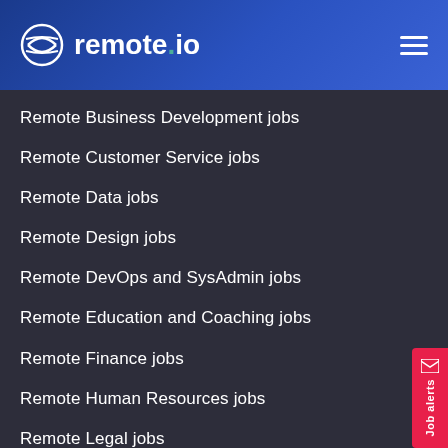remote.io
Remote Business Development jobs
Remote Customer Service jobs
Remote Data jobs
Remote Design jobs
Remote DevOps and SysAdmin jobs
Remote Education and Coaching jobs
Remote Finance jobs
Remote Human Resources jobs
Remote Legal jobs
Remote Marketing jobs
Remote Media and Communication jobs
Remote Operations jobs
Remote Product jobs
Remote Quality Assurance jobs